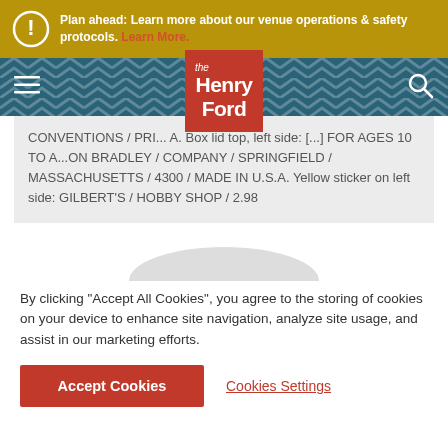Plan ahead: Learn more about our venue operations & safety protocols. Learn More.
[Figure (logo): The Henry Ford museum logo — white text on red square background]
CONVENTIONS / PRI... A. Box lid top, left side: [...] FOR AGES 10 TO A...ON BRADLEY / COMPANY / SPRINGFIELD / MASSACHUSETTS / 4300 / MADE IN U.S.A. Yellow sticker on left side: GILBERT'S / HOBBY SHOP / 2.98
By clicking "Accept All Cookies", you agree to the storing of cookies on your device to enhance site navigation, analyze site usage, and assist in our marketing efforts.